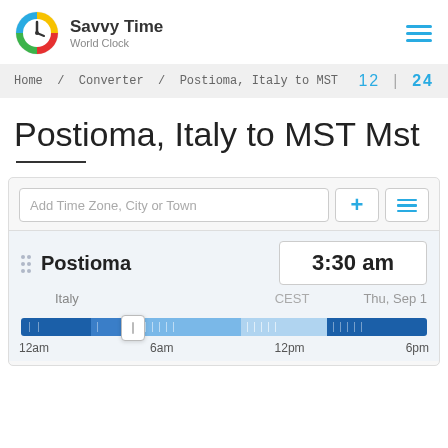[Figure (logo): Savvy Time World Clock logo with colorful clock icon]
Savvy Time World Clock
Home / Converter / Postioma, Italy to MST   12 | 24
Postioma, Italy to MST Mst
Add Time Zone, City or Town
Postioma   3:30 am
Italy   CEST   Thu, Sep 1
[Figure (infographic): 24-hour timeline bar showing time of day with a handle at approximately 3:30am position, dark blue for night hours and lighter blue for day hours. Labels: 12am, 6am, 12pm, 6pm]